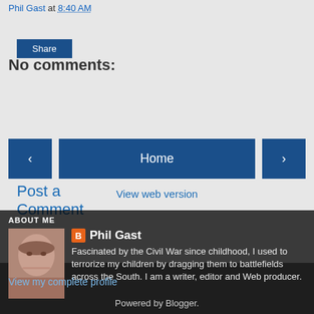Phil Gast at 8:40 AM
Share
No comments:
Post a Comment
‹
Home
›
View web version
ABOUT ME
[Figure (photo): Profile photo of Phil Gast, a bald middle-aged man smiling]
Phil Gast
Fascinated by the Civil War since childhood, I used to terrorize my children by dragging them to battlefields across the South. I am a writer, editor and Web producer.
View my complete profile
Powered by Blogger.